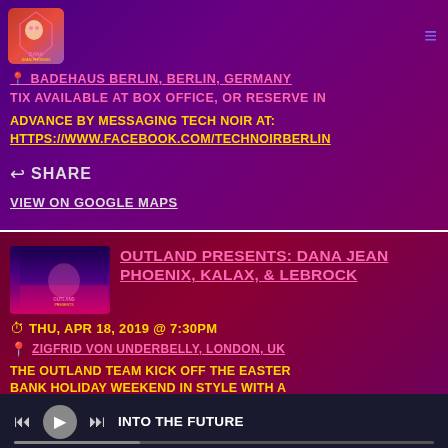DANA JEAN PHOENIX
BADEHAUS BERLIN, BERLIN, GERMANY
TIX AVAILABLE AT BOX OFFICE, OR RESERVE IN ADVANCE BY MESSAGING TECH NOIR AT:
HTTPS://WWW.FACEBOOK.COM/TECHNOIRBERLIN
SHARE
VIEW ON GOOGLE MAPS
OUTLAND PRESENTS: DANA JEAN PHOENIX, KALAX, & LEBROCK
THU, APR 18, 2019 @ 7:30PM
ZIGFRID VON UNDERBELLY, LONDON, UK
THE OUTLAND TEAM KICK OFF THE EASTER BANK HOLIDAY WEEKEND IN STYLE WITH A POWERHOUSE SYNTHWAVE TRIPLE-HEADER, FEATURING CANADA'S DANA JEAN PHOENIX,
INTO THE FUTURE